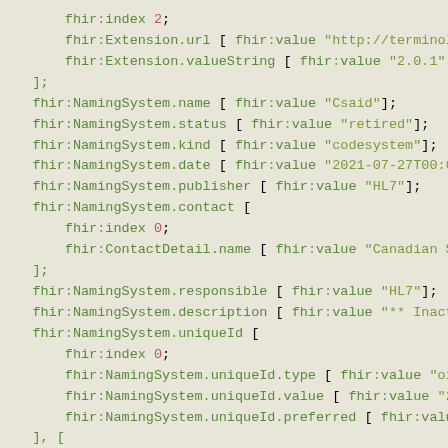FHIR NamingSystem RDF/Turtle code snippet showing fhir:index, fhir:Extension.url, fhir:Extension.valueString, fhir:NamingSystem.name, fhir:NamingSystem.status, fhir:NamingSystem.kind, fhir:NamingSystem.date, fhir:NamingSystem.publisher, fhir:NamingSystem.contact, fhir:ContactDetail.name, fhir:NamingSystem.responsible, fhir:NamingSystem.description, fhir:NamingSystem.uniqueId, fhir:NamingSystem.uniqueId.type, fhir:NamingSystem.uniqueId.value, fhir:NamingSystem.uniqueId.preferred properties